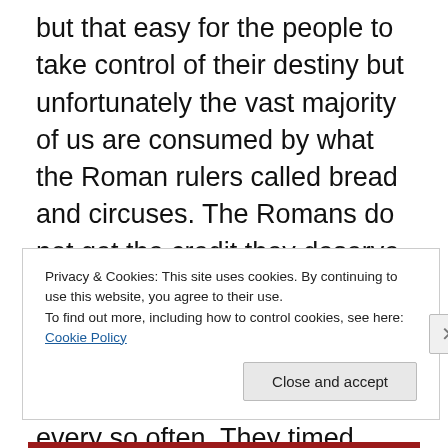but that easy for the people to take control of their destiny but unfortunately the vast majority of us are consumed by what the Roman rulers called bread and circuses. The Romans do not get the credit they deserve as they truly knew what would keep the people docile and oddly it was being given their necessary doses of violence every so often. They timed their entertainment such that they were not denied matches going to their finality but as gladiators were expensively trained they could not very well be killed off in a casual manner. All too often men who were
Privacy & Cookies: This site uses cookies. By continuing to use this website, you agree to their use.
To find out more, including how to control cookies, see here: Cookie Policy
Close and accept